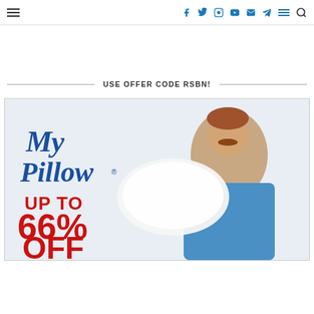Navigation bar with hamburger menu, social icons (Facebook, Twitter, Instagram, YouTube, Email, Telegram), menu icon, and search icon
USE OFFER CODE RSBN!
[Figure (photo): MyPillow advertisement showing the MyPillow logo in blue script, a man in a blue shirt smiling and holding a white pillow, with red bold text reading UP TO 66% OFF]